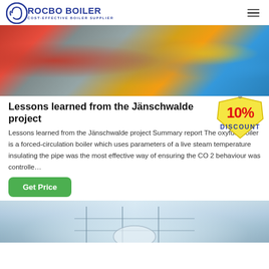ROCBO BOILER — COST-EFFECTIVE BOILER SUPPLIER
[Figure (photo): Industrial boiler equipment photo showing red cylindrical tank, pipes, yellow metal frame structure, and blue machinery components]
Lessons learned from the Jänschwalde project
[Figure (illustration): 10% DISCOUNT badge/sticker with red text on yellow tag shape]
Lessons learned from the Jänschwalde project Summary report The oxyfuel boiler is a forced-circulation boiler which uses parameters of a live steam temperature insulating the pipe was the most effective way of ensuring the CO 2 behaviour was controlle…
Get Price
[Figure (photo): Industrial building interior with steel structure scaffolding, pipes and large white cylindrical vessel/tank in bright light]